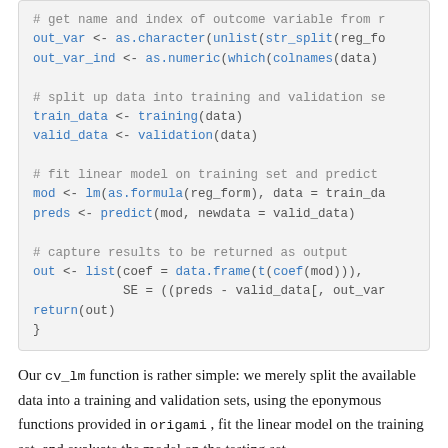# get name and index of outcome variable from r
out_var <- as.character(unlist(str_split(reg_fo
out_var_ind <- as.numeric(which(colnames(data)

# split up data into training and validation se
train_data <- training(data)
valid_data <- validation(data)

# fit linear model on training set and predict
mod <- lm(as.formula(reg_form), data = train_da
preds <- predict(mod, newdata = valid_data)

# capture results to be returned as output
out <- list(coef = data.frame(t(coef(mod))),
            SE = ((preds - valid_data[, out_var
return(out)
}
Our cv_lm function is rather simple: we merely split the available data into a training and validation sets, using the eponymous functions provided in origami , fit the linear model on the training set, and evaluate the model on the testing set.